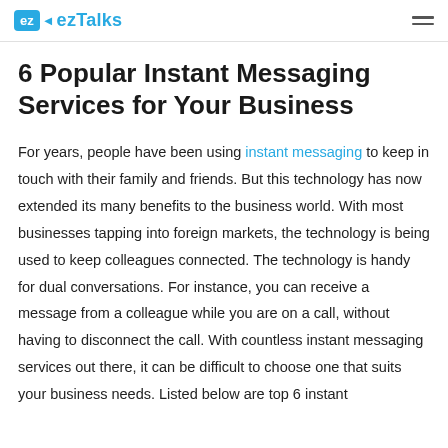ez ezTalks
6 Popular Instant Messaging Services for Your Business
For years, people have been using instant messaging to keep in touch with their family and friends. But this technology has now extended its many benefits to the business world. With most businesses tapping into foreign markets, the technology is being used to keep colleagues connected. The technology is handy for dual conversations. For instance, you can receive a message from a colleague while you are on a call, without having to disconnect the call. With countless instant messaging services out there, it can be difficult to choose one that suits your business needs. Listed below are top 6 instant